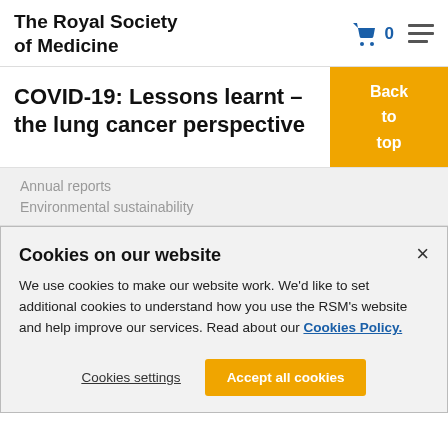The Royal Society of Medicine
COVID-19: Lessons learnt – the lung cancer perspective
Annual reports
Environmental sustainability
Cookies on our website
We use cookies to make our website work. We'd like to set additional cookies to understand how you use the RSM's website and help improve our services. Read about our Cookies Policy.
Cookies settings
Accept all cookies